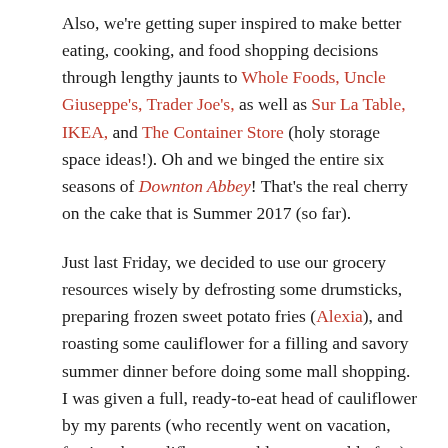Also, we're getting super inspired to make better eating, cooking, and food shopping decisions through lengthy jaunts to Whole Foods, Uncle Giuseppe's, Trader Joe's, as well as Sur La Table, IKEA, and The Container Store (holy storage space ideas!). Oh and we binged the entire six seasons of Downton Abbey! That's the real cherry on the cake that is Summer 2017 (so far).
Just last Friday, we decided to use our grocery resources wisely by defrosting some drumsticks, preparing frozen sweet potato fries (Alexia), and roasting some cauliflower for a filling and savory summer dinner before doing some mall shopping. I was given a full, ready-to-eat head of cauliflower by my parents (who recently went on vacation, fearing the cauliflower would meet a moldy fate). Without ever really preparing a cauliflower side before, I did a little Pinterest reading and set forth by chopping it all up.